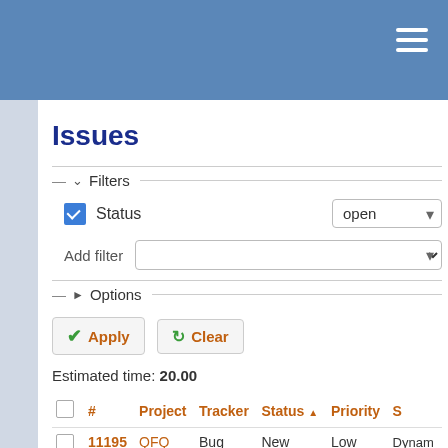Issues
Filters
Status   open
Add filter
Options
Apply   Clear
Estimated time: 20.00
|  | # | Project | Tracker | Status ▲ | Priority | S |
| --- | --- | --- | --- | --- | --- | --- |
|  | 11195 | QFQ | Bug | New | Low | Dynam
Updat
not up
new te
empty
Loggin |